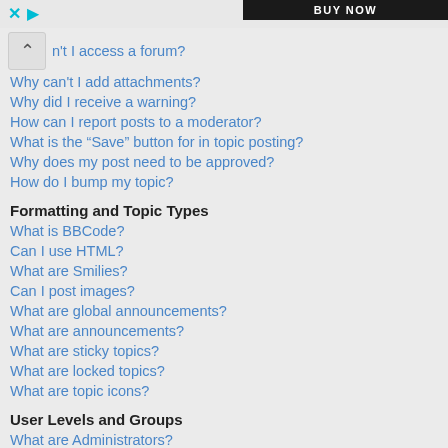BUY NOW
n't I access a forum?
Why can't I add attachments?
Why did I receive a warning?
How can I report posts to a moderator?
What is the “Save” button for in topic posting?
Why does my post need to be approved?
How do I bump my topic?
Formatting and Topic Types
What is BBCode?
Can I use HTML?
What are Smilies?
Can I post images?
What are global announcements?
What are announcements?
What are sticky topics?
What are locked topics?
What are topic icons?
User Levels and Groups
What are Administrators?
What are Moderators?
What are usergroups?
Where are the usergroups and how do I join one?